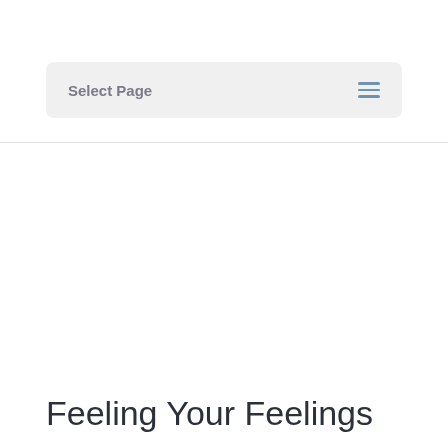Select Page
Feeling Your Feelings